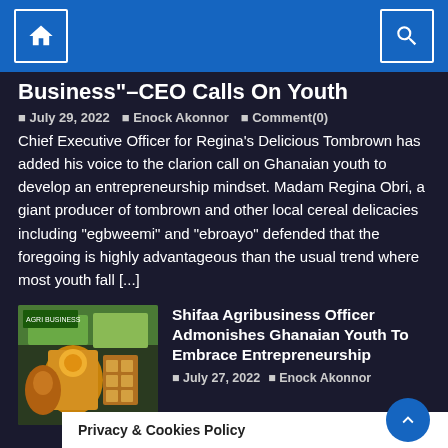Home | Search
Business"-CEO Calls On Youth
July 29, 2022   Enock Akonnor   Comment(0)
Chief Executive Officer for Regina's Delicious Tombrown has added his voice to the clarion call on Ghanaian youth to develop an entrepreneurship mindset. Madam Regina Obri, a giant producer of tombrown and other local cereal delicacies including "egbweemi" and "ebroayo" defended that the foregoing is highly advantageous than the usual trend where most youth fall [...]
[Figure (photo): Photo of a woman at an agribusiness display booth with food products]
Shifaa Agribusiness Officer Admonishes Ghanaian Youth To Embrace Entrepreneurship
July 27, 2022   Enock Akonnor
Privacy & Cookies Policy